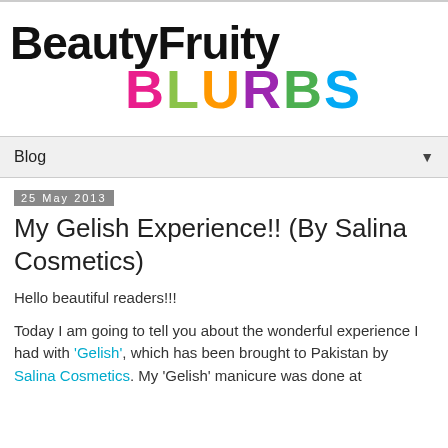[Figure (logo): BeautyFruity BLURBS blog logo. 'BeautyFruity' in large black bold text, 'BLURBS' in large multicolored bold text (B=pink, L=green, U=orange, R=purple, B=green, S=blue)]
Blog ▼
25 May 2013
My Gelish Experience!! (By Salina Cosmetics)
Hello beautiful readers!!!
Today I am going to tell you about the wonderful experience I had with 'Gelish', which has been brought to Pakistan by Salina Cosmetics. My 'Gelish' manicure was done at